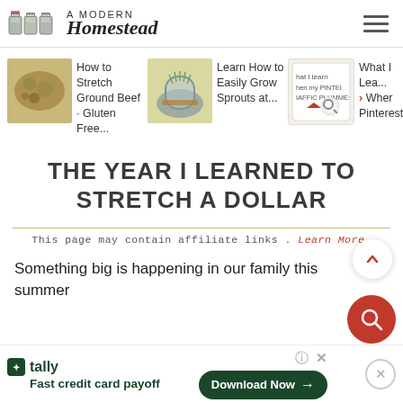A MODERN Homestead
[Figure (screenshot): Thumbnail image of ground beef dish]
How to Stretch Ground Beef - Gluten Free...
[Figure (screenshot): Thumbnail image of jar with sprouts]
Learn How to Easily Grow Sprouts at...
[Figure (screenshot): Thumbnail image of Pinterest traffic card]
What I Lea... What I Learned When My Pinterest...
THE YEAR I LEARNED TO STRETCH A DOLLAR
This page may contain affiliate links. Learn More.
Something big is happening in our family this summer
Fast credit card payoff